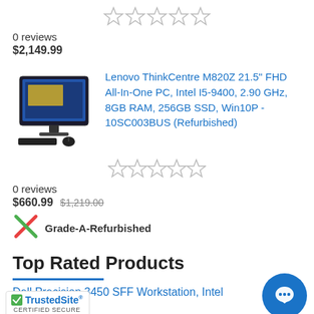[Figure (photo): Star rating widget showing 5 empty stars at top of page]
0 reviews
$2,149.99
[Figure (photo): Lenovo ThinkCentre M820Z All-In-One desktop computer product image]
Lenovo ThinkCentre M820Z 21.5" FHD All-In-One PC, Intel I5-9400, 2.90 GHz, 8GB RAM, 256GB SSD, Win10P - 10SC003BUS (Refurbished)
[Figure (other): Star rating widget showing 5 empty stars]
0 reviews
$660.99  $1,219.00
Grade-A-Refurbished
Top Rated Products
Dell Precision 3450 SFF Workstation, Intel